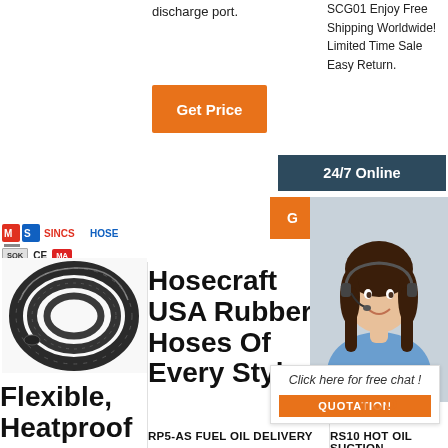discharge port.
[Figure (screenshot): Orange 'Get Price' button]
SCG01 Enjoy Free Shipping Worldwide! Limited Time Sale Easy Return.
[Figure (infographic): Dark blue '24/7 Online' banner with orange 'G' button and customer service representative photo with headset, plus chat popup saying 'Click here for free chat!' and QUOTATION button]
[Figure (logo): Company logo with red/orange branding and certification marks: CE, MA]
[Figure (photo): Coiled black rubber hose]
Flexible, Heatproof &
Hosecraft USA Rubber Hoses Of Every Style
RP5-AS FUEL OIL DELIVERY...
Hosecraft Us Hoses And Beverage Hoses
RS10 HOT OIL SUCTION...